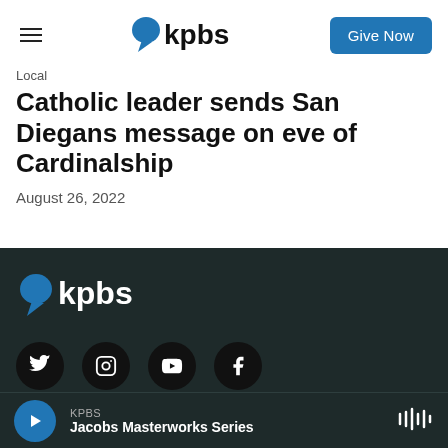KPBS — Give Now
Local
Catholic leader sends San Diegans message on eve of Cardinalship
August 26, 2022
[Figure (logo): KPBS logo with blue speech bubble icon and bold 'kpbs' text, on dark background]
[Figure (infographic): Social media icons: Twitter, Instagram, YouTube, Facebook — white icons on black circles]
KPBS
Jacobs Masterworks Series